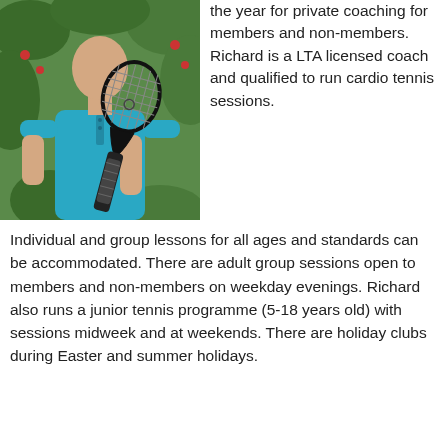[Figure (photo): Man in teal t-shirt holding a tennis racket, standing in front of foliage]
the year for private coaching for members and non-members. Richard is a LTA licensed coach and qualified to run cardio tennis sessions.
Individual and group lessons for all ages and standards can be accommodated. There are adult group sessions open to members and non-members on weekday evenings. Richard also runs a junior tennis programme (5-18 years old) with sessions midweek and at weekends. There are holiday clubs during Easter and summer holidays.